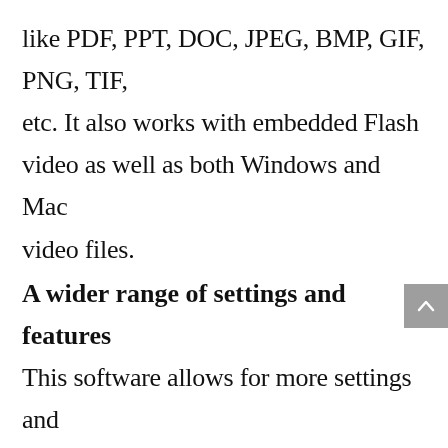like PDF, PPT, DOC, JPEG, BMP, GIF, PNG, TIF, etc. It also works with embedded Flash video as well as both Windows and Mac video files.
A wider range of settings and features
This software allows for more settings and configuration that help to enhance the final output. For example, Vidsio can help you to create small or large email files by selecting the desired output size and video quality. You can also specify the file name and the email address that you will use. The program will also allow you to use an optional watermark to create a unique logo